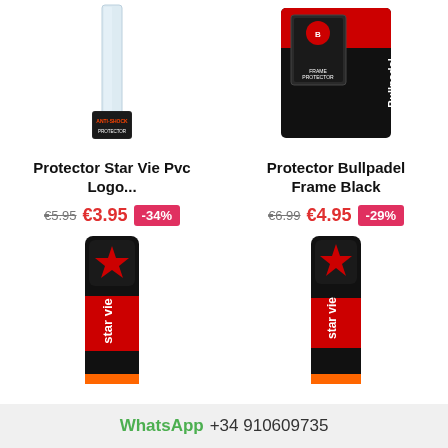[Figure (photo): Protector Star Vie PVC - clear plastic strip with anti-shock protector label at bottom]
[Figure (photo): Protector Bullpadel Frame Black - black packaged frame protector with red Bullpadel branding]
Protector Star Vie Pvc Logo...
Protector Bullpadel Frame Black
€5.95  €3.95  -34%
€6.99  €4.95  -29%
[Figure (photo): Star Vie padel frame protector - black and red design with star logo, bottom portion visible]
[Figure (photo): Star Vie padel frame protector - black and red design with star logo, second variant]
WhatsApp +34 910609735